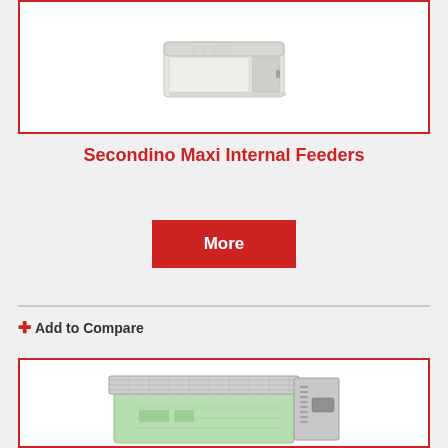[Figure (photo): White rectangular internal feeder product (top card), Secondino Maxi model, showing compact white box-shaped feeder]
Secondino Maxi Internal Feeders
More
+ Add to Compare
[Figure (photo): Green transparent plastic internal feeder with metal wire grid top, second product card at bottom of page]